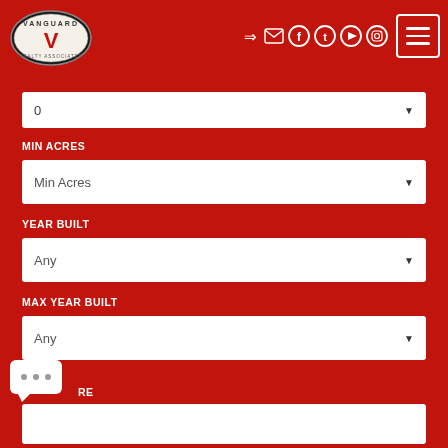[Figure (logo): Vanguard Realty Associates oval logo with V emblem]
[Figure (screenshot): Navigation icons: sign-in, mail, Facebook, Twitter, YouTube, Instagram circles, and hamburger menu button]
0
MIN ACRES
Min Acres
YEAR BUILT
Any
MAX YEAR BUILT
Any
RE
[Figure (other): Chat bubble icon with animated dots]